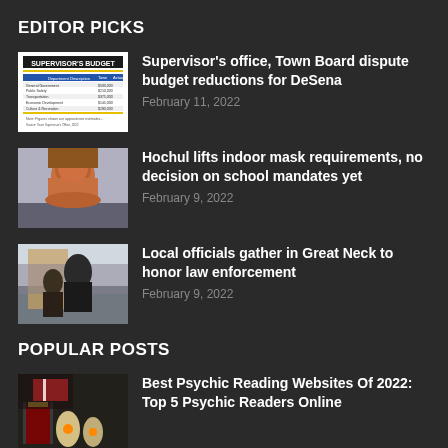EDITOR PICKS
[Figure (photo): Supervisor's Budget document thumbnail]
Supervisor's office, Town Board dispute budget reductions for DeSena
February 11, 2022
[Figure (photo): Woman with brown hair looking up - Hochul]
Hochul lifts indoor mask requirements, no decision on school mandates yet
February 9, 2022
[Figure (photo): Local officials gathered outdoors in Great Neck]
Local officials gather in Great Neck to honor law enforcement
February 9, 2022
POPULAR POSTS
[Figure (photo): Candles and psychic reading items with American flag]
Best Psychic Reading Websites Of 2022: Top 5 Psychic Readers Online